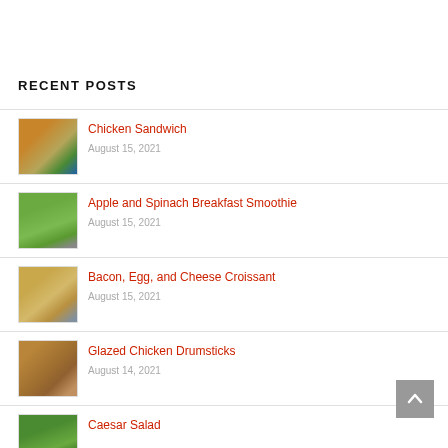RECENT POSTS
Chicken Sandwich — August 15, 2021
Apple and Spinach Breakfast Smoothie — August 15, 2021
Bacon, Egg, and Cheese Croissant — August 15, 2021
Glazed Chicken Drumsticks — August 14, 2021
Caesar Salad